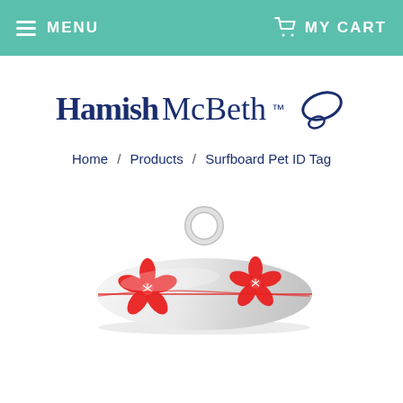MENU   MY CART
[Figure (logo): Hamish McBeth logo with oval tag icon]
Home / Products / Surfboard Pet ID Tag
[Figure (photo): A surfboard-shaped pet ID tag in silver/white with red hibiscus flower design and a loop at the top]